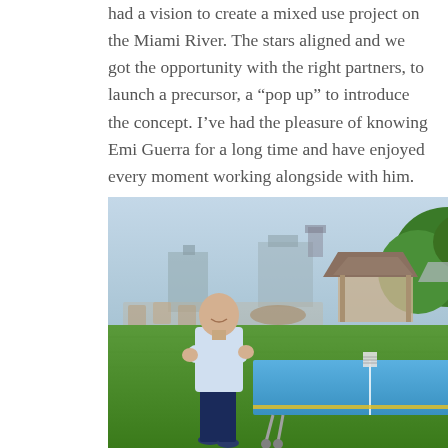had a vision to create a mixed use project on the Miami River. The stars aligned and we got the opportunity with the right partners, to launch a precursor, a “pop up” to introduce the concept. I’ve had the pleasure of knowing Emi Guerra for a long time and have enjoyed every moment working alongside with him.
[Figure (photo): A man in a light blue shirt and dark pants standing with arms crossed next to a blue ping pong table on a green lawn. In the background is an outdoor dining area with tables, chairs, umbrellas, and a gazebo-style structure, with trees and urban buildings visible. A 'world redeye' logo watermark appears in the bottom right corner.]